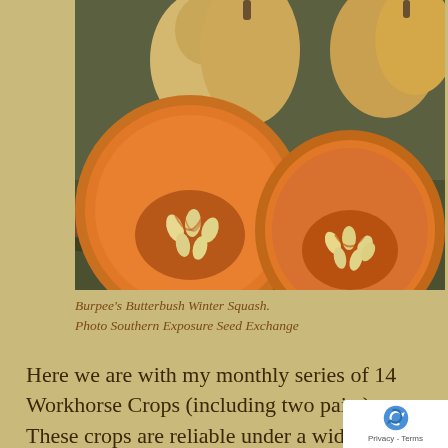[Figure (photo): Butternut squash cut in half showing orange flesh and seeds, with whole butternut squash in background, on grass/leaves]
Burpee's Butterbush Winter Squash. Photo Southern Exposure Seed Exchange
Here we are with my monthly series of 14 Workhorse Crops (including two pairs). These crops are reliable under a wide range of conditions. My goal with this series is to help you become more efficient, productive and profitable (if selling) as you deal with another strange year. Maybe you are not at home as much as last year, or maybe your helpers ha